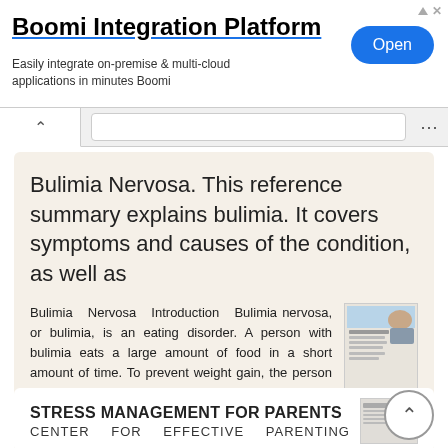[Figure (screenshot): Advertisement banner for Boomi Integration Platform with Open button]
Bulimia Nervosa. This reference summary explains bulimia. It covers symptoms and causes of the condition, as well as
Bulimia Nervosa Introduction Bulimia nervosa, or bulimia, is an eating disorder. A person with bulimia eats a large amount of food in a short amount of time. To prevent weight gain, the person then purges.
More information →
STRESS MANAGEMENT FOR PARENTS
CENTER FOR EFFECTIVE PARENTING